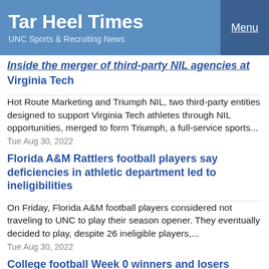Tar Heel Times | UNC Sports & Recruiting News | Menu
Inside the merger of third-party NIL agencies at Virginia Tech
Hot Route Marketing and Triumph NIL, two third-party entities designed to support Virginia Tech athletes through NIL opportunities, merged to form Triumph, a full-service sports...
Tue Aug 30, 2022
Florida A&M Rattlers football players say deficiencies in athletic department led to ineligibilities
On Friday, Florida A&M football players considered not traveling to UNC to play their season opener. They eventually decided to play, despite 26 ineligible players,...
Tue Aug 30, 2022
College football Week 0 winners and losers
Nebraska football is an unnatural disaster. An oil spill, a